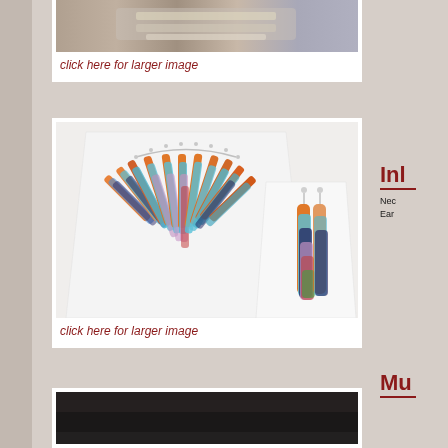[Figure (photo): Partial view of jewelry/bracelet item at top of page]
click here for larger image
[Figure (photo): Colorful inlay necklace fanning out with matching drop earrings on white display stands]
click here for larger image
Inl
Nec
Ear
Mu
[Figure (photo): Partially visible dark jewelry item at bottom of page]